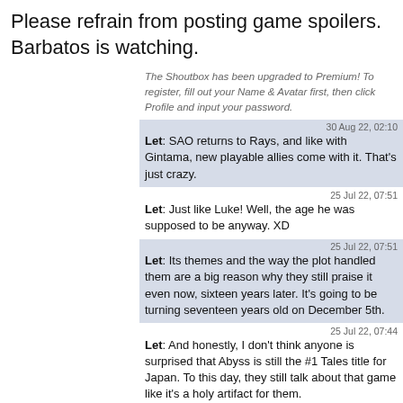Please refrain from posting game spoilers. Barbatos is watching.
The Shoutbox has been upgraded to Premium! To register, fill out your Name & Avatar first, then click Profile and input your password.
30 Aug 22, 02:10 — Let: SAO returns to Rays, and like with Gintama, new playable allies come with it. That's just crazy.
25 Jul 22, 07:51 — Let: Just like Luke! Well, the age he was supposed to be anyway. XD
25 Jul 22, 07:51 — Let: Its themes and the way the plot handled them are a big reason why they still praise it even now, sixteen years later. It's going to be turning seventeen years old on December 5th.
25 Jul 22, 07:44 — Let: And honestly, I don't think anyone is surprised that Abyss is still the #1 Tales title for Japan. To this day, they still talk about that game like it's a holy artifact for them.
25 Jul 22, 07:43 — Let: Summoner's Lineage is also pretty obscure, but I guess a fully tactical Tales game was a pretty unique idea at the time. I'm surprised Reve Unitia didn't get voted on too. Maybe it played differently?
25 Jul 22, 07:38
1 user online   refresh